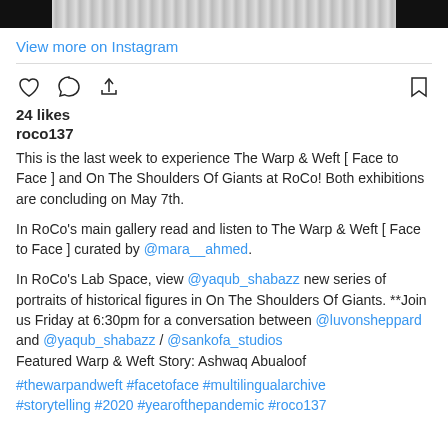[Figure (photo): Top portion of an Instagram post image, partially visible with black bars on left and right edges]
View more on Instagram
[Figure (infographic): Instagram action icons: heart (like), comment bubble, share/upload, and bookmark]
24 likes
roco137
This is the last week to experience The Warp & Weft [ Face to Face ] and On The Shoulders Of Giants at RoCo! Both exhibitions are concluding on May 7th.
In RoCo's main gallery read and listen to The Warp & Weft [ Face to Face ] curated by @mara__ahmed.
In RoCo's Lab Space, view @yaqub_shabazz new series of portraits of historical figures in On The Shoulders Of Giants. **Join us Friday at 6:30pm for a conversation between @luvonsheppard and @yaqub_shabazz / @sankofa_studios
Featured Warp & Weft Story: Ashwaq Abualoof
#thewarpandweft #facetoface #multilingualarchive #storytelling #2020 #yearofthepandemic #roco137